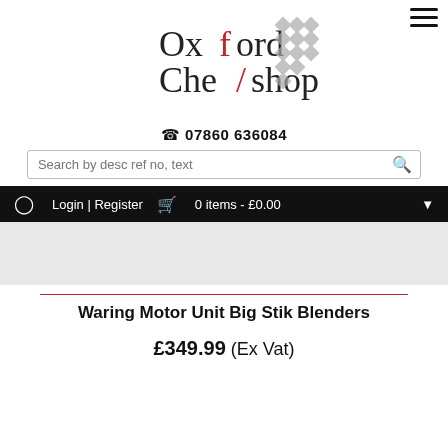[Figure (logo): Oxford Chefshop logo with red chef's hat slash and grey diamond grid pattern]
📞 07860 636084
[Figure (screenshot): Search bar with placeholder text 'Search by desc ref no, text' and a search icon button]
Login | Register   🛒 0 items - £0.00
[Figure (photo): Grey placeholder area for product image]
Waring Motor Unit Big Stik Blenders
£349.99 (Ex Vat)